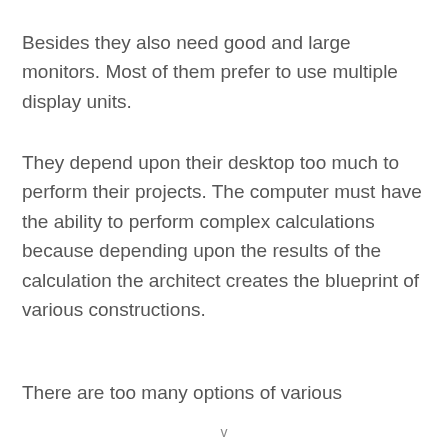Besides they also need good and large monitors. Most of them prefer to use multiple display units.
They depend upon their desktop too much to perform their projects. The computer must have the ability to perform complex calculations because depending upon the results of the calculation the architect creates the blueprint of various constructions.
There are too many options of various
v